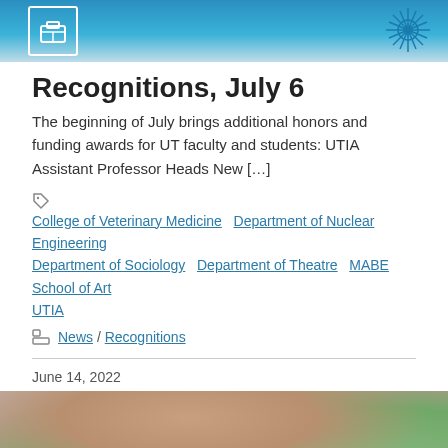[Figure (photo): Top banner image with teal/blue decorative background, icon box on left, floral/star decorative element on right]
Recognitions, July 6
The beginning of July brings additional honors and funding awards for UT faculty and students: UTIA Assistant Professor Heads New [...]
Tags: College of Veterinary Medicine · Department of Nuclear Engineering · Department of Sociology · Department of Theatre · MABE · School of Art · UTIA
Categories: News / Recognitions
June 14, 2022
[Figure (photo): Partial photo of a person (head and shoulders), outdoors with greenery in background]